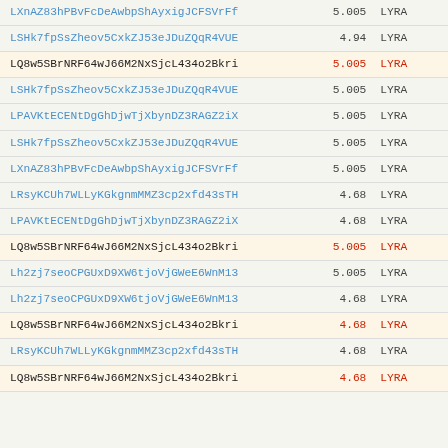| Hash | Value | Currency |
| --- | --- | --- |
| LXnAZ83hPBvFcDeAwbpShAyxigJCFSVrFf | 5.005 | LYRA |
| LSHk7fpSsZheov5CxkZJ53eJDuZQqR4VUE | 4.94 | LYRA |
| LQ8w5SBrNRF64wJ66M2NxSjcL434o2Bkri | 5.005 | LYRA |
| LSHk7fpSsZheov5CxkZJ53eJDuZQqR4VUE | 5.005 | LYRA |
| LPAVKtECENtDgGhDjwTjXbynDZ3RAGZ2iX | 5.005 | LYRA |
| LSHk7fpSsZheov5CxkZJ53eJDuZQqR4VUE | 5.005 | LYRA |
| LXnAZ83hPBvFcDeAwbpShAyxigJCFSVrFf | 5.005 | LYRA |
| LRsyKCUh7WLLyKGkgnmMMZ3cp2xfd43sTH | 4.68 | LYRA |
| LPAVKtECENtDgGhDjwTjXbynDZ3RAGZ2iX | 4.68 | LYRA |
| LQ8w5SBrNRF64wJ66M2NxSjcL434o2Bkri | 5.005 | LYRA |
| Lh2zj7seoCPGUxD9XW6tjoVjGWeE6WnM13 | 5.005 | LYRA |
| Lh2zj7seoCPGUxD9XW6tjoVjGWeE6WnM13 | 4.68 | LYRA |
| LQ8w5SBrNRF64wJ66M2NxSjcL434o2Bkri | 4.68 | LYRA |
| LRsyKCUh7WLLyKGkgnmMMZ3cp2xfd43sTH | 4.68 | LYRA |
| LQ8w5SBrNRF64wJ66M2NxSjcL434o2Bkri | 4.68 | LYRA |